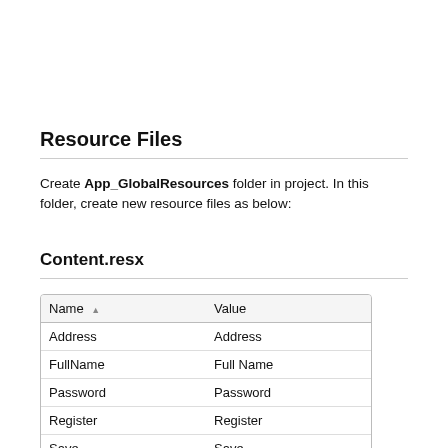Resource Files
Create App_GlobalResources folder in project. In this folder, create new resource files as below:
Content.resx
| Name | Value |
| --- | --- |
| Address | Address |
| FullName | Full Name |
| Password | Password |
| Register | Register |
| Save | Save |
| Username | Username |